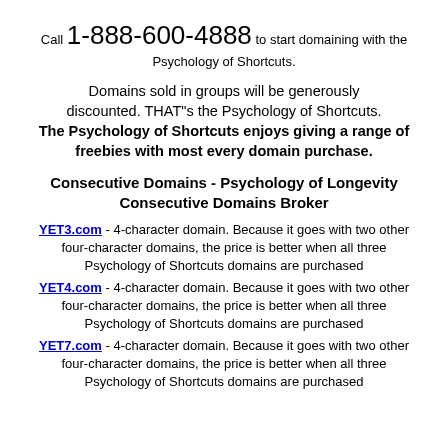Call 1-888-600-4888 to start domaining with the Psychology of Shortcuts.
Domains sold in groups will be generously discounted. THAT"s the Psychology of Shortcuts. The Psychology of Shortcuts enjoys giving a range of freebies with most every domain purchase.
Consecutive Domains - Psychology of Longevity Consecutive Domains Broker
YET3.com - 4-character domain. Because it goes with two other four-character domains, the price is better when all three Psychology of Shortcuts domains are purchased
YET4.com - 4-character domain. Because it goes with two other four-character domains, the price is better when all three Psychology of Shortcuts domains are purchased
YET7.com - 4-character domain. Because it goes with two other four-character domains, the price is better when all three Psychology of Shortcuts domains are purchased